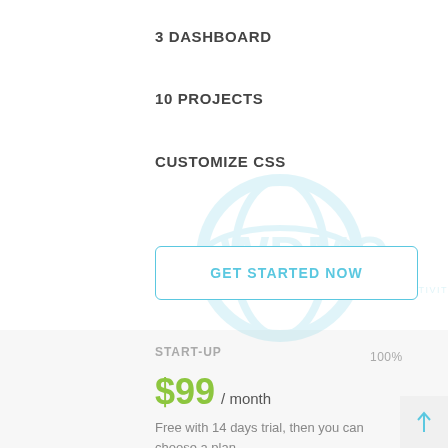3 DASHBOARD
10 PROJECTS
CUSTOMIZE CSS
GET STARTED NOW
START-UP
100%
$99 / month
Free with 14 days trial, then you can choose a plan.